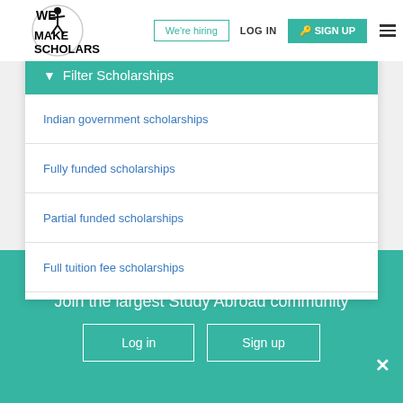We Make Scholars | We're hiring | LOG IN | SIGN UP
Filter Scholarships
Indian government scholarships
Fully funded scholarships
Partial funded scholarships
Full tuition fee scholarships
Join the largest Study Abroad community
Log in | Sign up